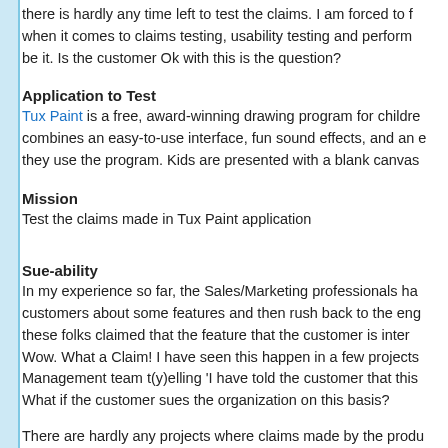there is hardly any time left to test the claims. I am forced to find when it comes to claims testing, usability testing and perform be it. Is the customer Ok with this is the question?
Application to Test
Tux Paint is a free, award-winning drawing program for children combines an easy-to-use interface, fun sound effects, and an e they use the program. Kids are presented with a blank canvas
Mission
Test the claims made in Tux Paint application
Sue-ability
In my experience so far, the Sales/Marketing professionals ha customers about some features and then rush back to the eng these folks claimed that the feature that the customer is inter Wow. What a Claim! I have seen this happen in a few projects Management team t(y)elling 'I have told the customer that this What if the customer sues the organization on this basis?
There are hardly any projects where claims made by the produ